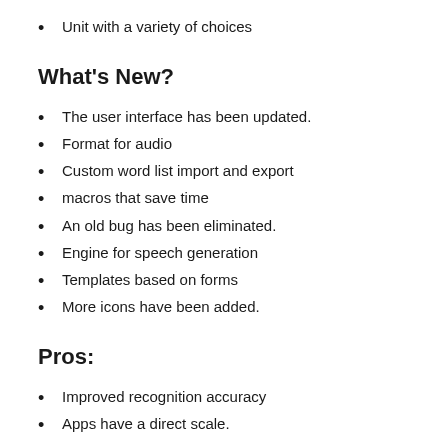Unit with a variety of choices
What’s New?
The user interface has been updated.
Format for audio
Custom word list import and export
macros that save time
An old bug has been eliminated.
Engine for speech generation
Templates based on forms
More icons have been added.
Pros:
Improved recognition accuracy
Apps have a direct scale.